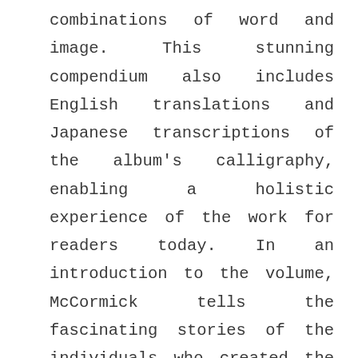combinations of word and image. This stunning compendium also includes English translations and Japanese transcriptions of the album's calligraphy, enabling a holistic experience of the work for readers today. In an introduction to the volume, McCormick tells the fascinating stories of the individuals who created the Genji Album in the sixteenth century, from the famous court painter who executed the paintings and the aristocrats who brushed the calligraphy to the work's warrior patrons and the poet-scholars who acted as their intermediaries. Beautifully illustrated, this book serves as an invaluable